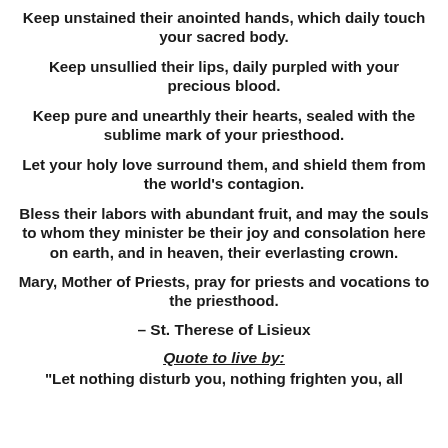Keep unstained their anointed hands, which daily touch your sacred body.
Keep unsullied their lips, daily purpled with your precious blood.
Keep pure and unearthly their hearts, sealed with the sublime mark of your priesthood.
Let your holy love surround them, and shield them from the world's contagion.
Bless their labors with abundant fruit, and may the souls to whom they minister be their joy and consolation here on earth, and in heaven, their everlasting crown.
Mary, Mother of Priests, pray for priests and vocations to the priesthood.
– St. Therese of Lisieux
Quote to live by:
"Let nothing disturb you, nothing frighten you, all